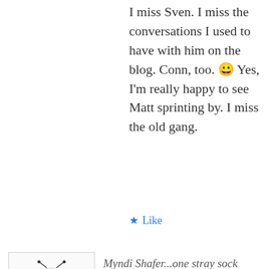I miss Sven. I miss the conversations I used to have with him on the blog. Conn, too. 😀 Yes, I'm really happy to see Matt sprinting by. I miss the old gang.
★ Like
Myndi Shafer...one stray sock away from insanity. says:
March 25, 2013 at 2:27 pm
That's fabulous! And yeah, fast drafting is SO DAMN HARD! Keep at it!